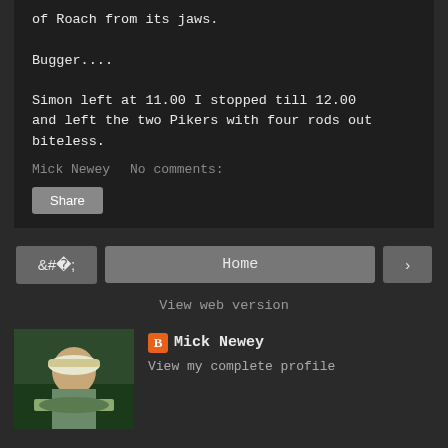of Roach from its jaws.

Bugger....

Simon left at 11.00 I stopped till 12.00 and left the two Pikers with four rods out biteless.
Mick Newey    No comments:
Share
Home
View web version
[Figure (photo): Profile photo of a person holding a large fish outdoors]
Mick Newey
View my complete profile
Powered by Blogger.